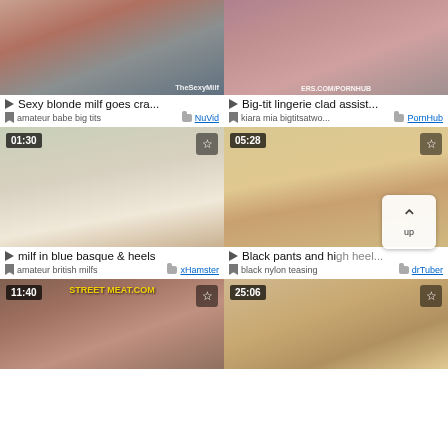[Figure (screenshot): Video thumbnail grid showing adult video website with 6 video thumbnails in 2-column layout]
Sexy blonde milf goes cra...
amateur babe big tits
NuVid
Big-tit lingerie clad assist...
kiara mia bigtitsatwo...
PornHub
milf in blue basque & heels
amateur british milfs
xHamster
Black pants and high heel...
black nylon teasing
drTuber